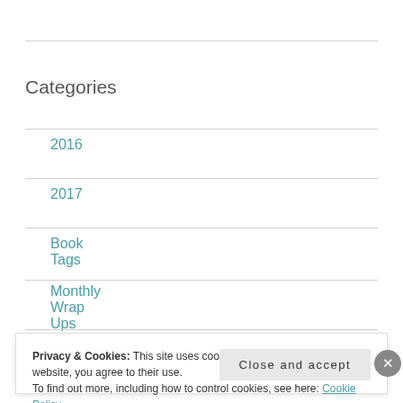Categories
2016
2017
Book Tags
Monthly Wrap Ups
Privacy & Cookies: This site uses cookies. By continuing to use this website, you agree to their use. To find out more, including how to control cookies, see here: Cookie Policy